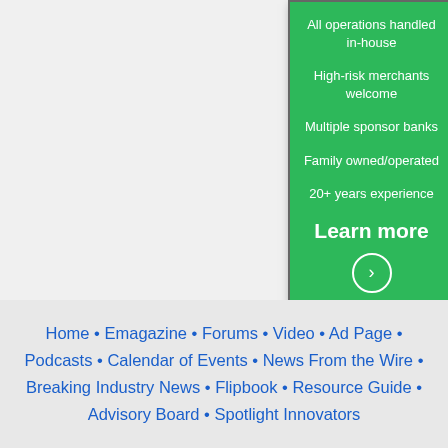[Figure (illustration): Advertisement for Maverick Payments on green and dark background. Green section lists: All operations handled in-house, High-risk merchants welcome, Multiple sponsor banks, Family owned/operated, 20+ years experience, Learn more button with arrow. Dark section shows maverickpayments.com and phone 800.464.9777.]
Home • Emagazine • Forums • Video • Ad Page • Podcasts • Calendar of Events • News From the Wire • Breaking Industry News • Flipbook • Resource Guide • Advisory Board • Spotlight Innovators